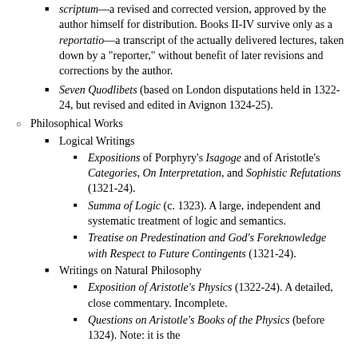scriptum—a revised and corrected version, approved by the author himself for distribution. Books II-IV survive only as a reportatio—a transcript of the actually delivered lectures, taken down by a "reporter," without benefit of later revisions and corrections by the author.
Seven Quodlibets (based on London disputations held in 1322-24, but revised and edited in Avignon 1324-25).
Philosophical Works
Logical Writings
Expositions of Porphyry's Isagoge and of Aristotle's Categories, On Interpretation, and Sophistic Refutations (1321-24).
Summa of Logic (c. 1323). A large, independent and systematic treatment of logic and semantics.
Treatise on Predestination and God's Foreknowledge with Respect to Future Contingents (1321-24).
Writings on Natural Philosophy
Exposition of Aristotle's Physics (1322-24). A detailed, close commentary. Incomplete.
Questions on Aristotle's Books of the Physics (before 1324). Note: it is the...